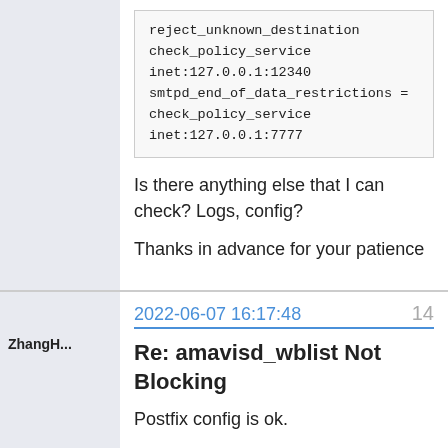[Figure (screenshot): Forum post continuation showing a code block with Postfix configuration lines including reject_unknown_destination, check_policy_service, inet:127.0.0.1:12340, smtpd_end_of_data_restrictions, check_policy_service, inet:127.0.0.1:7777]
Is there anything else that I can check? Logs, config?
Thanks in advance for your patience
ZhangH...
2022-06-07 16:17:48
14
Re: amavisd_wblist Not Blocking
Postfix config is ok.
Do you have a personal Gmail account? try to block your personal